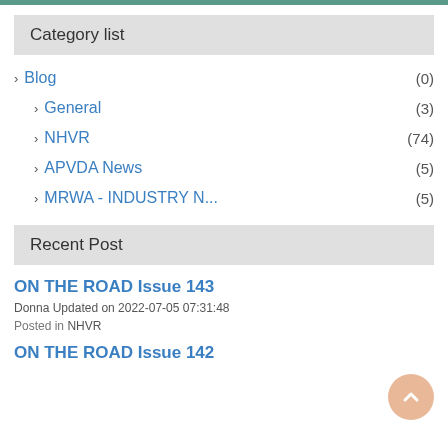Category list
> Blog (0)
> General (3)
> NHVR (74)
> APVDA News (5)
> MRWA - INDUSTRY N... (5)
Recent Post
ON THE ROAD Issue 143
Donna Updated on 2022-07-05 07:31:48
Posted in NHVR
ON THE ROAD Issue 142